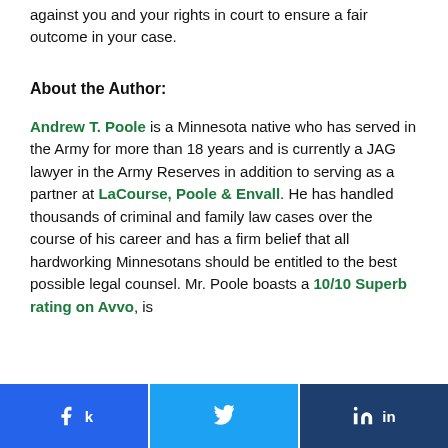against you and your rights in court to ensure a fair outcome in your case.
About the Author:
Andrew T. Poole is a Minnesota native who has served in the Army for more than 18 years and is currently a JAG lawyer in the Army Reserves in addition to serving as a partner at LaCourse, Poole & Envall. He has handled thousands of criminal and family law cases over the course of his career and has a firm belief that all hardworking Minnesotans should be entitled to the best possible legal counsel. Mr. Poole boasts a 10/10 Superb rating on Avvo, is
Share on Facebook | Share on Twitter | Share on LinkedIn